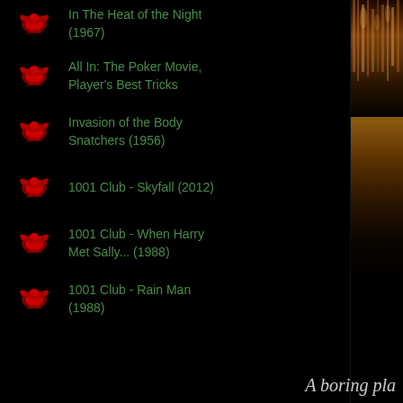In The Heat of the Night (1967)
All In: The Poker Movie, Player's Best Tricks
Invasion of the Body Snatchers (1956)
1001 Club - Skyfall (2012)
1001 Club - When Harry Met Sally... (1988)
1001 Club - Rain Man (1988)
[Figure (photo): Dark right panel showing amber/golden bokeh lights against dark background, resembling a blurred nighttime scene]
A boring pla